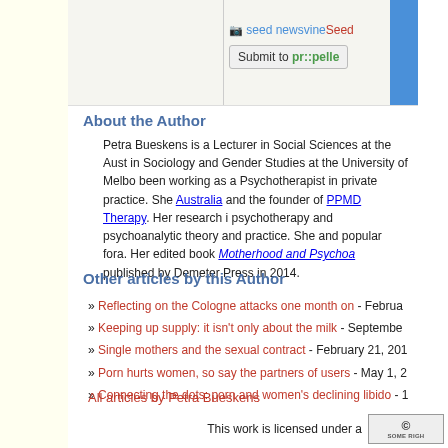[Figure (screenshot): Top bar with seed newsvine and Submit to pr::peller buttons, and a blue OLO support sidebar tab]
About the Author
Petra Bueskens is a Lecturer in Social Sciences at the Australian Catholic University and completed her PhD in Sociology and Gender Studies at the University of Melbourne. For the past twelve years she has been working as a Psychotherapist in private practice. She is the founder of Perinatal Wellbeing Australia and the founder of PPMD Therapy. Her research interests include feminist theory, psychotherapy and psychoanalytic theory and practice. She publishes in both academic and popular fora. Her edited book Motherhood and Psychoanalysis was published by Demeter Press in 2014.
Other articles by this Author
Reflecting on the Cologne attacks one month on - February
Keeping up supply: it isn't only about the milk - September
Single mothers and the sexual contract - February 21, 201
Porn hurts women, so say the partners of users - May 1,
Connecting the dots: porn and women's declining libido -
All articles by Petra Bueskens
This work is licensed under a